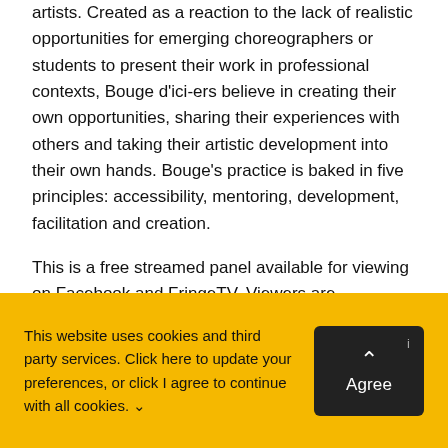artists. Created as a reaction to the lack of realistic opportunities for emerging choreographers or students to present their work in professional contexts, Bouge d'ici-ers believe in creating their own opportunities, sharing their experiences with others and taking their artistic development into their own hands. Bouge's practice is baked in five principles: accessibility, mentoring, development, facilitation and creation.

This is a free streamed panel available for viewing on Facebook and FringeTV. Viewers are encouraged to join the discussion using the comment feature.
This website uses cookies and third party services. Click here to update your preferences, or click I agree to continue with all cookies. ∨